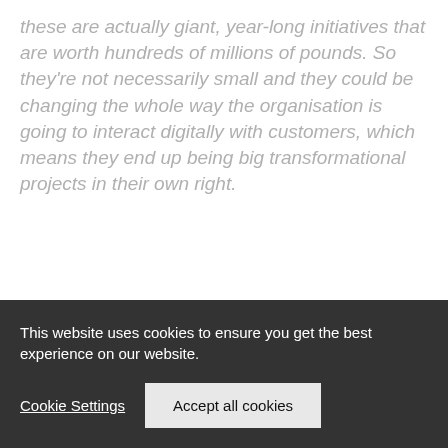these are actually giant, year-long initiatives that are worth hundreds of millions of pounds. So they're not necessarily small and they could be changing the whole way the organisation is going to interact digitally with customers, which means they end up being big transformational projects in their own right.
Harry Metcalfe, managing director at software consultancy dxw, agrees, adding:
This website uses cookies to ensure you get the best experience on our website.
Cookie Settings
Accept all cookies